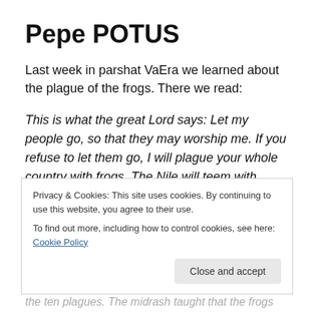Pepe POTUS
Last week in parshat VaEra we learned about the plague of the frogs. There we read:
This is what the great Lord says: Let my people go, so that they may worship me. If you refuse to let them go, I will plague your whole country with frogs. The Nile will teem with frogs. They will come up into your palace and your bedroom and onto your bed, into the houses of your officials and on your people, and into your ovens and
Privacy & Cookies: This site uses cookies. By continuing to use this website, you agree to their use.
To find out more, including how to control cookies, see here: Cookie Policy
the ten plagues. The midrash taught that the frogs